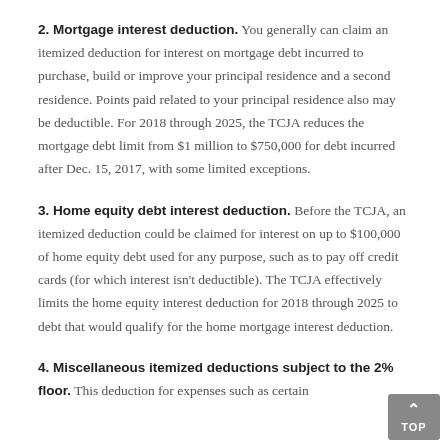2. Mortgage interest deduction. You generally can claim an itemized deduction for interest on mortgage debt incurred to purchase, build or improve your principal residence and a second residence. Points paid related to your principal residence also may be deductible. For 2018 through 2025, the TCJA reduces the mortgage debt limit from $1 million to $750,000 for debt incurred after Dec. 15, 2017, with some limited exceptions.
3. Home equity debt interest deduction. Before the TCJA, an itemized deduction could be claimed for interest on up to $100,000 of home equity debt used for any purpose, such as to pay off credit cards (for which interest isn't deductible). The TCJA effectively limits the home equity interest deduction for 2018 through 2025 to debt that would qualify for the home mortgage interest deduction.
4. Miscellaneous itemized deductions subject to the 2% floor. This deduction for expenses such as certain